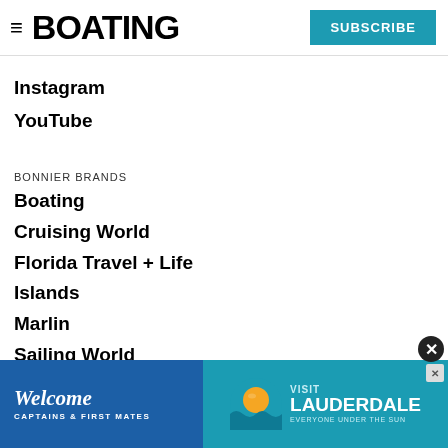BOATING | SUBSCRIBE
Instagram
YouTube
BONNIER BRANDS
Boating
Cruising World
Florida Travel + Life
Islands
Marlin
Sailing World
Salt Water Sportsman
Sport Fishing
Wakeboarding
[Figure (infographic): Advertisement banner: Welcome Captains & First Mates — Visit Lauderdale, Everyone Under the Sun. Blue background with sun/waves logo.]